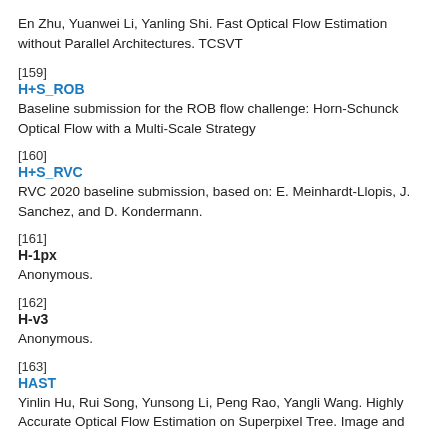En Zhu, Yuanwei Li, Yanling Shi. Fast Optical Flow Estimation without Parallel Architectures. TCSVT
[159]
H+S_ROB
Baseline submission for the ROB flow challenge: Horn-Schunck Optical Flow with a Multi-Scale Strategy
[160]
H+S_RVC
RVC 2020 baseline submission, based on: E. Meinhardt-Llopis, J. Sanchez, and D. Kondermann.
[161]
H-1px
Anonymous.
[162]
H-v3
Anonymous.
[163]
HAST
Yinlin Hu, Rui Song, Yunsong Li, Peng Rao, Yangli Wang. Highly Accurate Optical Flow Estimation on Superpixel Tree. Image and